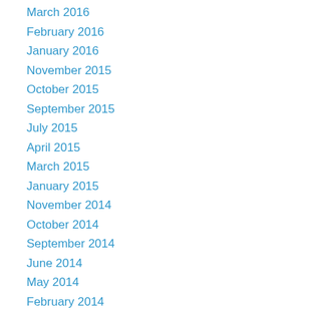March 2016
February 2016
January 2016
November 2015
October 2015
September 2015
July 2015
April 2015
March 2015
January 2015
November 2014
October 2014
September 2014
June 2014
May 2014
February 2014
January 2014
October 2013
June 2013
May 2013